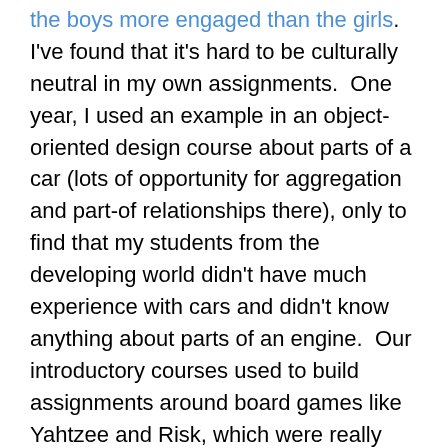the boys more engaged than the girls.  I've found that it's hard to be culturally neutral in my own assignments.  One year, I used an example in an object-oriented design course about parts of a car (lots of opportunity for aggregation and part-of relationships there), only to find that my students from the developing world didn't have much experience with cars and didn't know anything about parts of an engine.  Our introductory courses used to build assignments around board games like Yahtzee and Risk, which were really engaging for students who knew those games, and a drudgery for those who didn't know the games.  (Implementing pages of rules for a game you've never played is dull.)  There were cultural biases in the choices of games, e.g., favoring the kinds of games that, in the US, middle class kids in Suburbia played.
The question to which I don't know the answer is whether